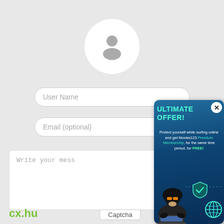[Figure (screenshot): User account avatar circle with a grey user/person icon on a light grey background]
User Name
Email (optional)
Write your mess
[Figure (infographic): Ad popup overlay with dark blue gradient background. Title 'ULTIMATE OFFER!' in teal. Body text: 'Protect yourself while surfing online and get Movies123 Premium Membership, for the same time period, for FREE!' with an illustration of a hacker with a laptop, a teal shield with checkmark, and a teal globe icon. Close button (X) in top right corner.]
Captcha
cx.hu